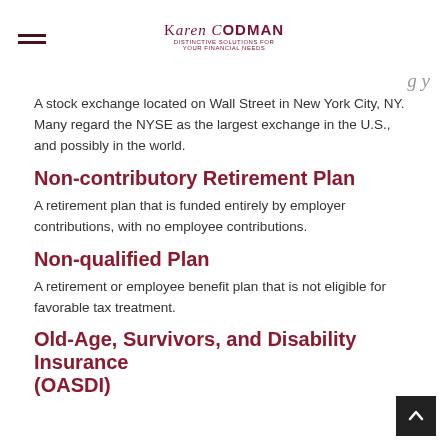Karen Codman — Distinctive Solutions For Your Financial Needs
A stock exchange located on Wall Street in New York City, NY. Many regard the NYSE as the largest exchange in the U.S., and possibly in the world.
Non-contributory Retirement Plan
A retirement plan that is funded entirely by employer contributions, with no employee contributions.
Non-qualified Plan
A retirement or employee benefit plan that is not eligible for favorable tax treatment.
Old-Age, Survivors, and Disability Insurance (OASDI)